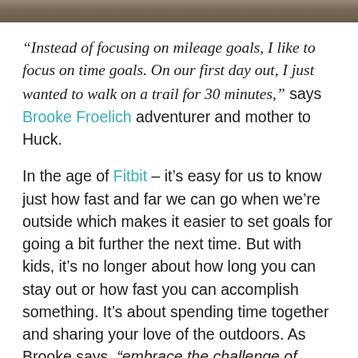[Figure (photo): Partial view of a photo at the top of the page showing an outdoor scene, cropped to a narrow strip]
“Instead of focusing on mileage goals, I like to focus on time goals. On our first day out, I just wanted to walk on a trail for 30 minutes,” says Brooke Froelich adventurer and mother to Huck.
In the age of Fitbit – it’s easy for us to know just how fast and far we can go when we’re outside which makes it easier to set goals for going a bit further the next time. But with kids, it’s no longer about how long you can stay out or how fast you can accomplish something. It’s about spending time together and sharing your love of the outdoors. As Brooke says, “embrace the challenge of adventuring with children but don’t push their comfort level for instance to the moon… or too fast